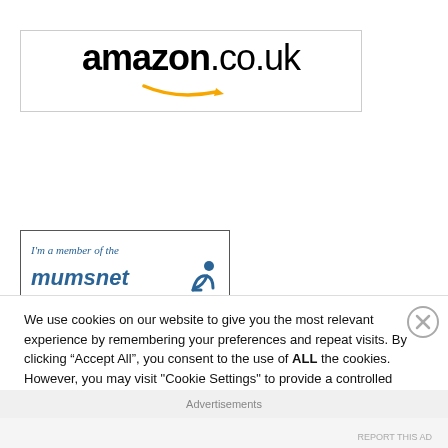[Figure (logo): Amazon.co.uk logo with bold 'amazon' text and orange arrow/smile underneath, in a bordered box]
[Figure (logo): Mumsnet membership badge: italic 'I'm a member of the mumsnet' text with blue figure icon, bordered box]
We use cookies on our website to give you the most relevant experience by remembering your preferences and repeat visits. By clicking “Accept All”, you consent to the use of ALL the cookies. However, you may visit "Cookie Settings" to provide a controlled consent.
Advertisements
REPORT THIS AD